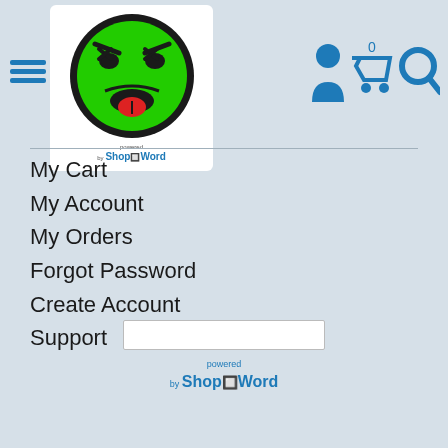[Figure (logo): Green angry/disgusted emoji face with tongue sticking out, inside a white rounded rectangle. Below it text: powered by ShopTheWord]
[Figure (infographic): Blue icons: person/account icon, shopping cart with '0' badge, magnifying glass search icon]
My Cart
My Account
My Orders
Forgot Password
Create Account
Support
[Figure (logo): powered by ShopTheWord logo in blue, with a text input box above it]